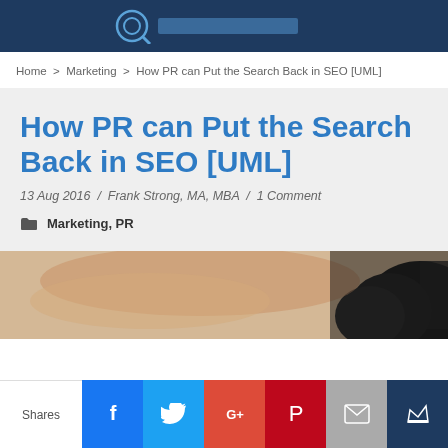Home > Marketing > How PR can Put the Search Back in SEO [UML]
How PR can Put the Search Back in SEO [UML]
13 Aug 2016 / Frank Strong, MA, MBA / 1 Comment
Marketing, PR
[Figure (photo): Close-up photo of hands, dark background, partially visible]
Shares